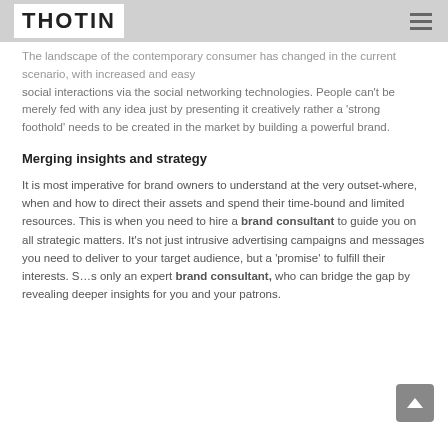THOTIN
The landscape of the contemporary consumer has changed in the current scenario, with increased and easy social interactions via the social networking technologies. People can't be merely fed with any idea just by presenting it creatively rather a 'strong foothold' needs to be created in the market by building a powerful brand.
Merging insights and strategy
It is most imperative for brand owners to understand at the very outset-where, when and how to direct their assets and spend their time-bound and limited resources. This is when you need to hire a brand consultant to guide you on all strategic matters. It's not just intrusive advertising campaigns and messages you need to deliver to your target audience, but a 'promise' to fulfill their interests. S…s only an expert brand consultant, who can bridge the gap by revealing deeper insights for you and your patrons.